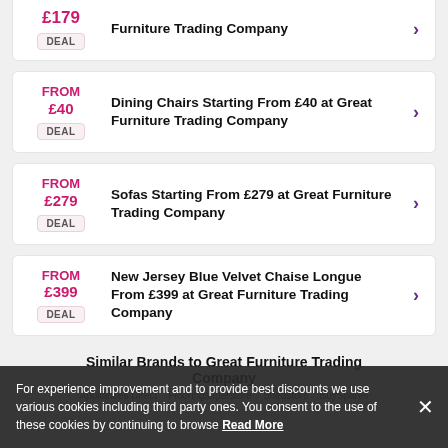FROM £179 – Furniture Trading Company – DEAL
FROM £40 – Dining Chairs Starting From £40 at Great Furniture Trading Company – DEAL
FROM £279 – Sofas Starting From £279 at Great Furniture Trading Company – DEAL
FROM £399 – New Jersey Blue Velvet Chaise Longue From £399 at Great Furniture Trading Company – DEAL
Similar Brands to Great Furniture Trading Company
Appliances Direct   Flooringsuperstore   Shedstore   BuySpares
For experience improvement and to provide best discounts we use various cookies including third party ones. You consent to the use of these cookies by continuing to browse Read More